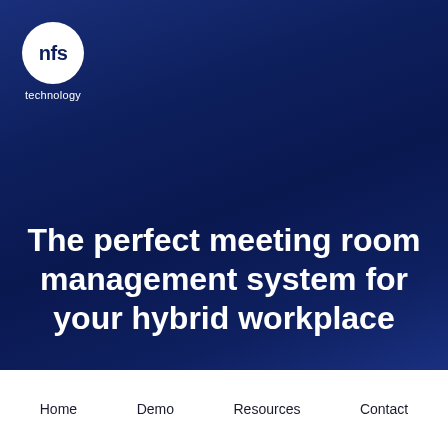[Figure (logo): NFS Technology logo: white circle with 'nfs' text in dark blue, with 'technology' label below in white]
The perfect meeting room management system for your hybrid workplace
Home   Demo   Resources   Contact